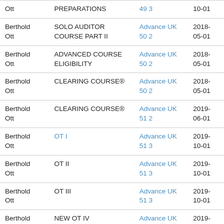| Berthold Ott | PREPARATIONS | 49 3 | 10-01 |
| Berthold Ott | SOLO AUDITOR COURSE PART II | Advance UK 50 2 | 2018-05-01 |
| Berthold Ott | ADVANCED COURSE ELIGIBILITY | Advance UK 50 2 | 2018-05-01 |
| Berthold Ott | CLEARING COURSE® | Advance UK 50 2 | 2018-05-01 |
| Berthold Ott | CLEARING COURSE® | Advance UK 51 2 | 2019-06-01 |
| Berthold Ott | OT I | Advance UK 51 3 | 2019-10-01 |
| Berthold Ott | OT II | Advance UK 51 3 | 2019-10-01 |
| Berthold Ott | OT III | Advance UK 51 3 | 2019-10-01 |
| Berthold Ott | NEW OT IV | Advance UK 51 3 | 2019-10-01 |